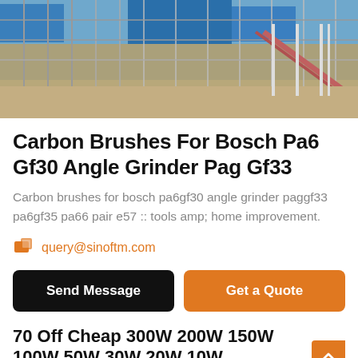[Figure (photo): Aerial/overhead view of an industrial facility with scaffolding, conveyor structures, blue roofing, and sandy ground]
Carbon Brushes For Bosch Pa6 Gf30 Angle Grinder Pag Gf33
Carbon brushes for bosch pa6gf30 angle grinder paggf33 pa6gf35 pa66 pair e57 :: tools amp; home improvement.
query@sinoftm.com
Send Message
Get a Quote
70 Off Cheap 300W 200W 150W 100W 50W 30W 20W 10W